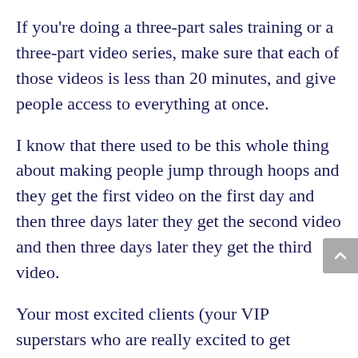If you're doing a three-part sales training or a three-part video series, make sure that each of those videos is less than 20 minutes, and give people access to everything at once.
I know that there used to be this whole thing about making people jump through hoops and they get the first video on the first day and then three days later they get the second video and then three days later they get the third video.
Your most excited clients (your VIP superstars who are really excited to get